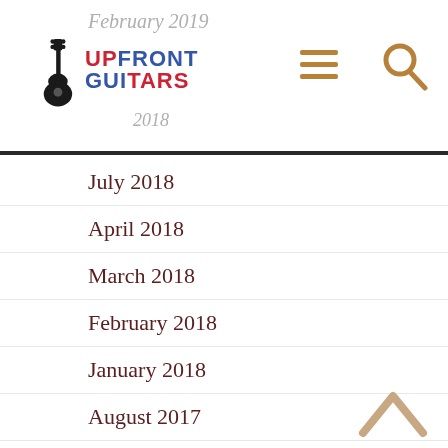February 2019 | Upfront Guitars | October 2018
July 2018
April 2018
March 2018
February 2018
January 2018
August 2017
July 2017
March 2017
February 2017
January 2017
October 2016